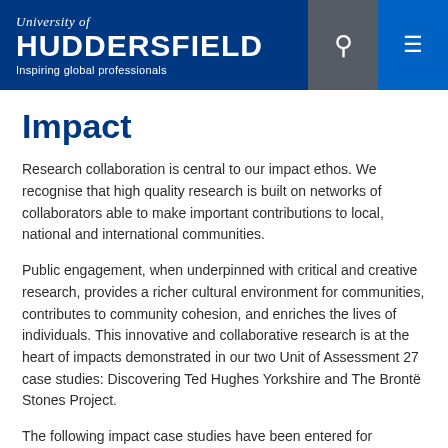University of Huddersfield — Inspiring global professionals
Impact
Research collaboration is central to our impact ethos. We recognise that high quality research is built on networks of collaborators able to make important contributions to local, national and international communities.
Public engagement, when underpinned with critical and creative research, provides a richer cultural environment for communities, contributes to community cohesion, and enriches the lives of individuals. This innovative and collaborative research is at the heart of impacts demonstrated in our two Unit of Assessment 27 case studies: Discovering Ted Hughes Yorkshire and The Brontë Stones Project.
The following impact case studies have been entered for